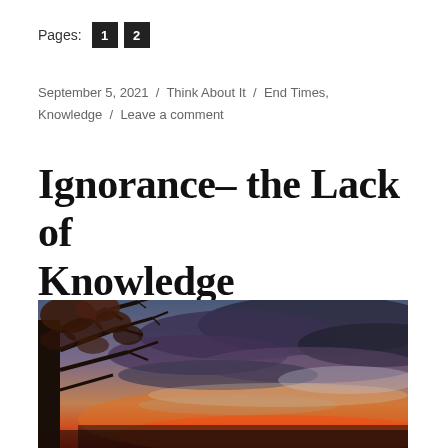Pages: 1 2
September 5, 2021 / Think About It / End Times, Knowledge / Leave a comment
Ignorance– the Lack of Knowledge
[Figure (photo): Dramatic HDR sunset sky with dark storm clouds and orange/red glow on the horizon, silhouette of a tree with bare branches on the left side.]